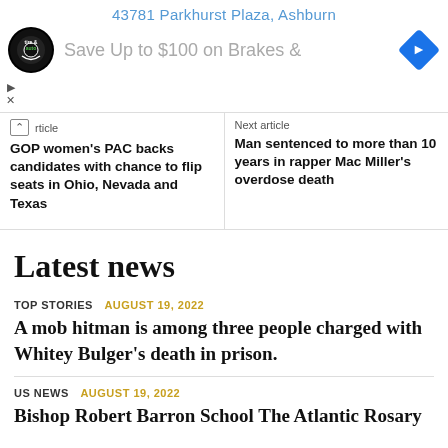[Figure (other): Advertisement banner showing '43781 Parkhurst Plaza, Ashburn' with tire and auto service logo, 'Save Up to $100 on Brakes &' text, and a blue diamond navigation icon]
Previous article
GOP women's PAC backs candidates with chance to flip seats in Ohio, Nevada and Texas
Next article
Man sentenced to more than 10 years in rapper Mac Miller's overdose death
Latest news
TOP STORIES  AUGUST 19, 2022
A mob hitman is among three people charged with Whitey Bulger's death in prison.
US NEWS  AUGUST 19, 2022
Bishop Robert Barron School The Atlantic Rosary